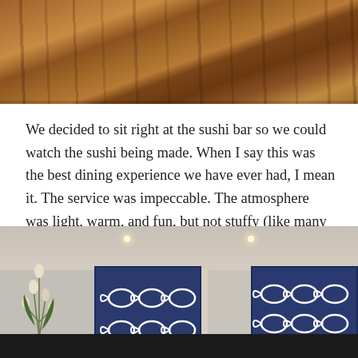[Figure (photo): Close-up photo of wooden floor with natural grain and cracks, warm brown tones]
We decided to sit right at the sushi bar so we could watch the sushi being made. When I say this was the best dining experience we have ever had, I mean it. The service was impeccable. The atmosphere was light, warm, and fun, but not stuffy (like many of the row restaurants can be), the staff was superbly friendly and attentive, and the sushi was the greatest sushi we have ever had.
[Figure (photo): Interior photo of a sushi bar restaurant showing the counter, staff member in white uniform, decorative blue banners with fish symbols, recessed ceiling lights, and a plant arrangement]